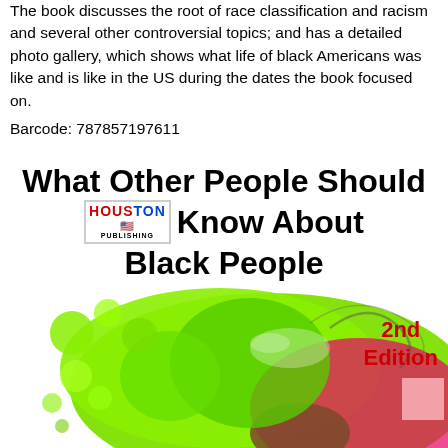The book discusses the root of race classification and racism and several other controversial topics; and has a detailed photo gallery, which shows what life of black Americans was like and is like in the US during the dates the book focused on.
Barcode: 787857197611
[Figure (illustration): Book cover for 'What Other People Should Know About Black People, 2nd Edition' with publisher Houston Publishing logo, decorative colorful paint splash graphic in green, pink, and brown tones on lower portion of cover]